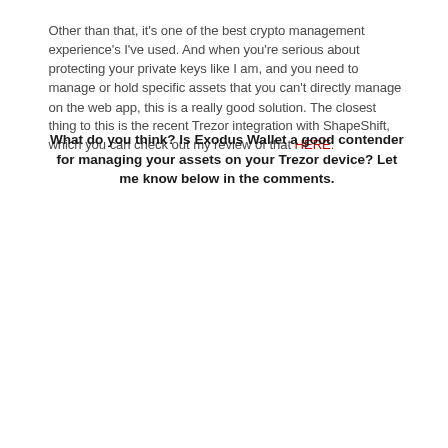Other than that, it's one of the best crypto management experience's I've used. And when you're serious about protecting your private keys like I am, and you need to manage or hold specific assets that you can't directly manage on the web app, this is a really good solution. The closest thing to this is the recent Trezor integration with ShapeShift, which you can check out my review of that HERE.
What do you think? Is Exodus Wallet a good contender for managing your assets on your Trezor device? Let me know below in the comments.